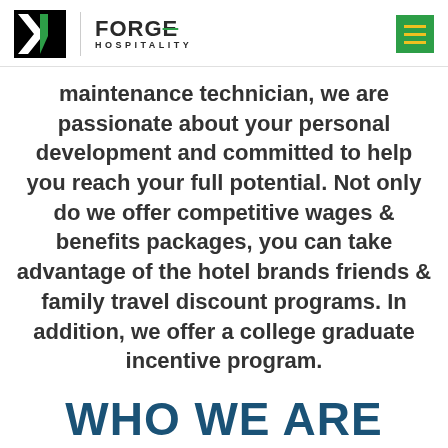FORGE HOSPITALITY
maintenance technician, we are passionate about your personal development and committed to help you reach your full potential. Not only do we offer competitive wages & benefits packages, you can take advantage of the hotel brands friends & family travel discount programs. In addition, we offer a college graduate incentive program.
WHO WE ARE
At Forge Hospitality, we foster a family